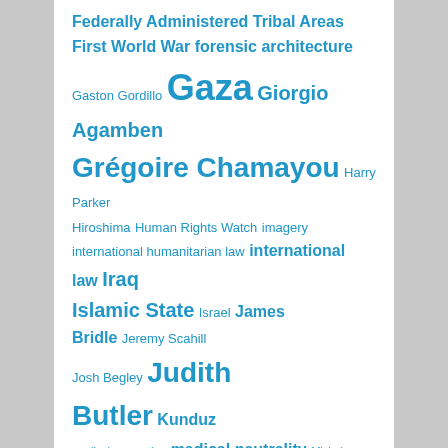Tag cloud: Federally Administered Tribal Areas, First World War, forensic architecture, Gaston Gordillo, Gaza, Giorgio Agamben, Grégoire Chamayou, Harry Parker, Hiroshima, Human Rights Watch, imagery, international humanitarian law, international law, Iraq, Islamic State, Israel, James Bridle, Jeremy Scahill, Josh Begley, Judith Butler, Kunduz, medical evacuation, medical neutrality, Michel Foucault, MSF, Owen Sheers, Pakistan, Palestine, Predator, refugees, siege warfare, social media, space of exception, Steve Graham, Stuart Elden, Syria, targeted killing, targeting, terrorism, torture, Trevor Paglen, Twitter, United States, Uruzgan, Vietnam, violence, Walter Benjamin, war, Waziristan, Western Front, wounded, Yemen